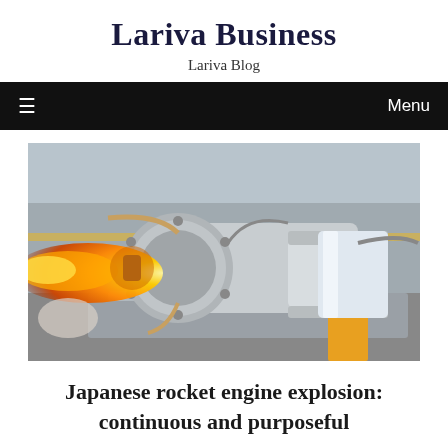Lariva Business
Lariva Blog
[Figure (photo): A rocket engine firing test on a test stand, with orange flame/plume visible on the left side. The engine is a complex metallic assembly with circular flanges, tubing, and a polished cylindrical section. The background shows an outdoor test facility with railing and ground visible.]
Japanese rocket engine explosion: continuous and purposeful